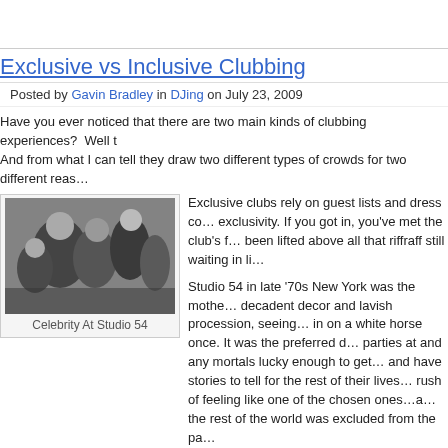Exclusive vs Inclusive Clubbing
Posted by Gavin Bradley in DJing on July 23, 2009
Have you ever noticed that there are two main kinds of clubbing experiences? Well t... And from what I can tell they draw two different types of crowds for two different reas...
[Figure (photo): Black and white photo of celebrities at Studio 54]
Celebrity At Studio 54
Exclusive clubs rely on guest lists and dress co... exclusivity. If you got in, you've met the club's f... been lifted above all that riffraff still waiting in li...
Studio 54 in late '70s New York was the mothe... decadent decor and lavish procession, seeing... in on a white horse once. It was the preferred d... parties at and any mortals lucky enough to get... and have stories to tell for the rest of their lives... rush of feeling like one of the chosen ones...a... the rest of the world was excluded from the pa...
While it would have been a sight to witness, I probably wouldn't have actually had a g... general I'm not into that exclusionary clubbing experience.
[Figure (photo): Color photo of crowd at club]
I like inclusive places where anyone can get i... list hookup. When you've got great music and...